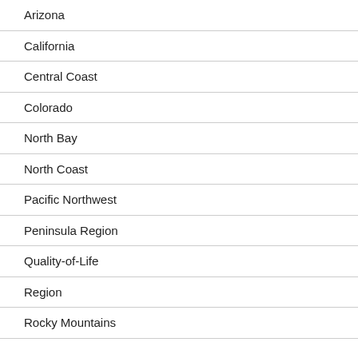Arizona
California
Central Coast
Colorado
North Bay
North Coast
Pacific Northwest
Peninsula Region
Quality-of-Life
Region
Rocky Mountains